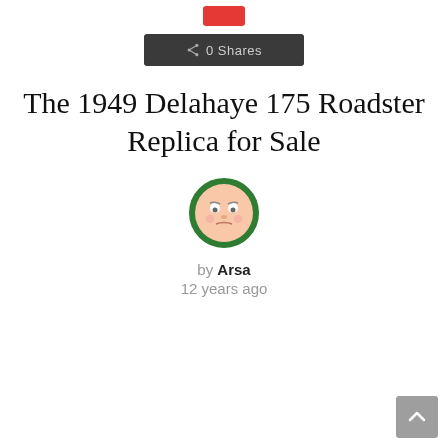[Figure (other): Red button/icon at top center]
0 Shares
The 1949 Delahaye 175 Roadster Replica for Sale
[Figure (illustration): Circular avatar with cartoon face, green border]
by Arsa
12 years ago
[Figure (other): Scroll-to-top arrow button, grey square at bottom right]